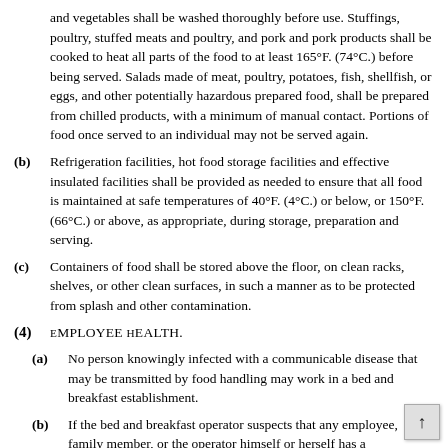and vegetables shall be washed thoroughly before use. Stuffings, poultry, stuffed meats and poultry, and pork and pork products shall be cooked to heat all parts of the food to at least 165°F. (74°C.) before being served. Salads made of meat, poultry, potatoes, fish, shellfish, or eggs, and other potentially hazardous prepared food, shall be prepared from chilled products, with a minimum of manual contact. Portions of food once served to an individual may not be served again.
(b) Refrigeration facilities, hot food storage facilities and effective insulated facilities shall be provided as needed to ensure that all food is maintained at safe temperatures of 40°F. (4°C.) or below, or 150°F. (66°C.) or above, as appropriate, during storage, preparation and serving.
(c) Containers of food shall be stored above the floor, on clean racks, shelves, or other clean surfaces, in such a manner as to be protected from splash and other contamination.
(4) Employee health.
(a) No person knowingly infected with a communicable disease that may be transmitted by food handling may work in a bed and breakfast establishment.
(b) If the bed and breakfast operator suspects that any employee, family member, or the operator himself or herself has a communicable disease that may be transmitted by food handling, that person shall be immediately excluded fro